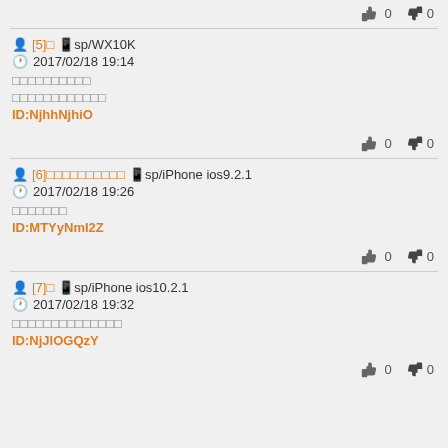👍0 👎0 (top vote row)
[5]□ □sp/WX10K 2017/02/18 19:14 □□□□□□□□□□ □□□□□□□□□□□□ ID:NjhhNjhiO 👍0 👎0
[6]□□□□□□□□□□ □sp/iPhone ios9.2.1 2017/02/18 19:26 □□□□□□□ ID:MTYyNmI2Z 👍0 👎0
[7]□ □sp/iPhone ios10.2.1 2017/02/18 19:32 □□□□□□□□□□□□□□ ID:NjJlOGQzY 👍0 👎0